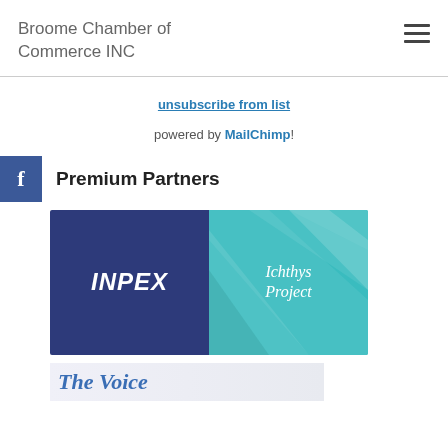Broome Chamber of Commerce INC
unsubscribe from list
powered by MailChimp!
Premium Partners
[Figure (logo): INPEX Ichthys Project logo — left half dark navy blue background with white italic bold text 'INPEX', right half teal/cyan geometric pattern background with white italic text 'Ichthys Project']
[Figure (illustration): Partial view of 'The Voice' publication banner in blue italic serif font]